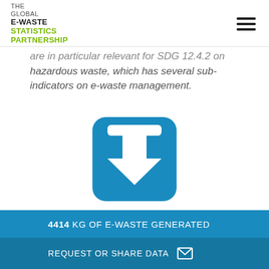THE GLOBAL E-WASTE STATISTICS PARTNERSHIP
are in particular relevant for SDG 12.4.2 on hazardous waste, which has several sub-indicators on e-waste management.
[Figure (illustration): Blue rounded-square download icon with white downward arrow symbol]
E-waste Statistics Tool
4414 KG OF E-WASTE GENERATED
REQUEST OR SHARE DATA